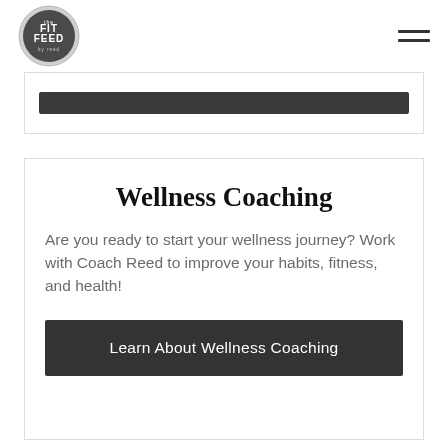the FIT FEED by reed
[Figure (logo): Circular logo with text 'the FIT FEED by reed' in white on dark gray background]
Wellness Coaching
Are you ready to start your wellness journey? Work with Coach Reed to improve your habits, fitness, and health!
Learn About Wellness Coaching